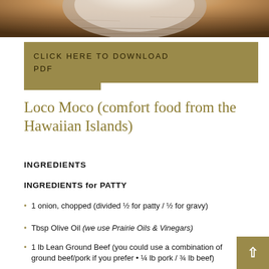[Figure (photo): Top portion of a food photo showing a plate on a wooden surface, partially cropped]
CLICK HERE TO DOWNLOAD PDF
Loco Moco (comfort food from the Hawaiian Islands)
INGREDIENTS
INGREDIENTS for PATTY
1 onion, chopped (divided ½ for patty / ½ for gravy)
Tbsp Olive Oil (we use Prairie Oils & Vinegars)
1 lb Lean Ground Beef (you could use a combination of ground beef/pork if you prefer • ¼ lb pork / ¾ lb beef)